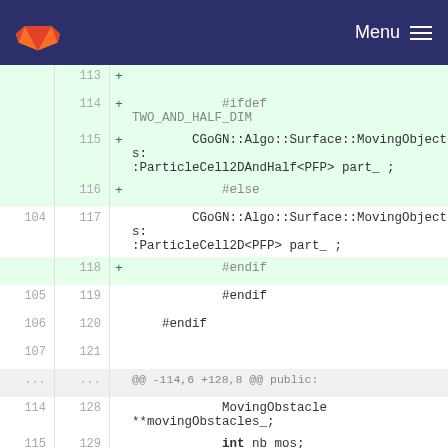GitLab logo | Menu
Code diff showing lines 113-131 of a C++ header file with particle cell declarations and #ifdef TWO_AND_HALF_DIM preprocessor guards
| old | new | +/- | code |
| --- | --- | --- | --- |
|  | 113 | + |  |
|  | 114 | + | #ifdef TWO_AND_HALF_DIM |
|  | 115 | + | CGoGN::Algo::Surface::MovingObjects::ParticleCell2DAndHalf<PFP> part_ ; |
|  | 116 | + | #else |
| 104 | 117 |  | CGoGN::Algo::Surface::MovingObjects::ParticleCell2D<PFP> part_ ; |
|  | 118 | + | #endif |
| 105 | 119 |  | #endif |
| 106 | 120 |  | #endif |
| 107 | 121 |  |  |
| ... | ... |  | @@ -114,6 +128,8 @@ public: |
| 114 | 128 |  | MovingObstacle **movingObstacles_; |
| 115 | 129 |  | int nb_mos; |
| 116 | 130 |  |  |
|  | 131 | + | static VEC3 xyPlane; |